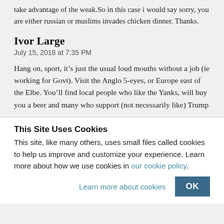take advantage of the weak.So in this case i would say sorry, you are either russian or muslims invades chicken dinner. Thanks.
Ivor Large
July 15, 2018 at 7:35 PM
Hang on, sport, it’s just the usual loud mouths without a job (ie working for Govt). Visit the Anglo 5-eyes, or Europe east of the Elbe. You’ll find local people who like the Yanks, will buy you a beer and many who support (not necessarily like) Trump
This Site Uses Cookies
This site, like many others, uses small files called cookies to help us improve and customize your experience. Learn more about how we use cookies in our cookie policy.
Learn more about cookies
OK